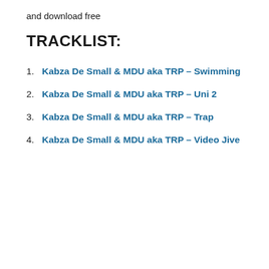and download free
TRACKLIST:
1. Kabza De Small & MDU aka TRP – Swimming
2. Kabza De Small & MDU aka TRP – Uni 2
3. Kabza De Small & MDU aka TRP – Trap
4. Kabza De Small & MDU aka TRP – Video Jive